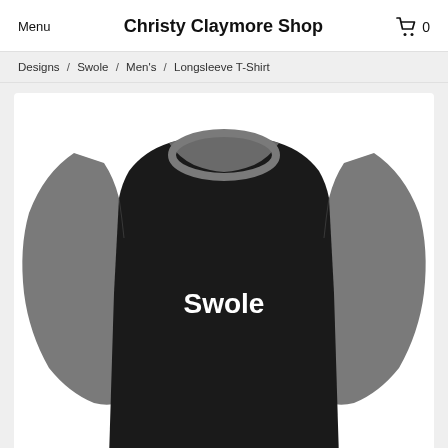Menu | Christy Claymore Shop | 0
Designs / Swole / Men's / Longsleeve T-Shirt
[Figure (photo): A black and grey raglan longsleeve t-shirt with the word 'Swole' printed in white bold text on the chest, displayed on a white background.]